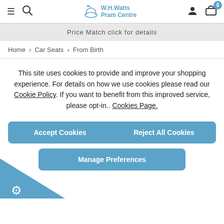W.H.Watts Pram Centre | navigation header with hamburger menu, search, user, and cart (0) icons
Price Match click for details
Home › Car Seats › From Birth
This site uses cookies to provide and improve your shopping experience. For details on how we use cookies please read our Cookie Policy. If you want to benefit from this improved service, please opt-in.. Cookies Page.
Accept Cookies
Reject All Cookies
Manage Preferences